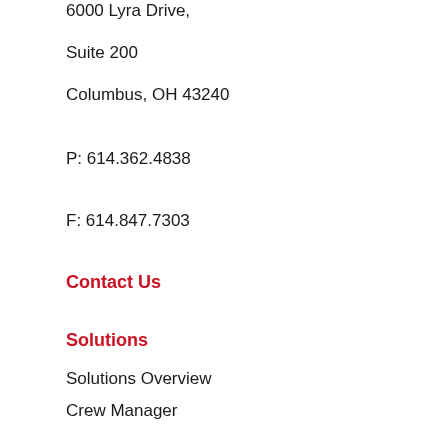6000 Lyra Drive,
Suite 200
Columbus, OH 43240
P: 614.362.4838
F: 614.847.7303
Contact Us
Solutions
Solutions Overview
Crew Manager
Callout & Scheduling
Resource Assist